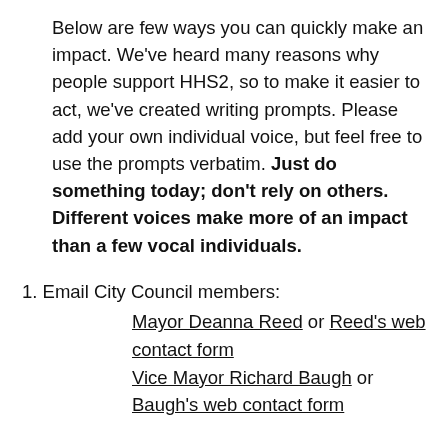Below are few ways you can quickly make an impact. We've heard many reasons why people support HHS2, so to make it easier to act, we've created writing prompts. Please add your own individual voice, but feel free to use the prompts verbatim. Just do something today; don't rely on others. Different voices make more of an impact than a few vocal individuals.
1. Email City Council members: Mayor Deanna Reed or Reed's web contact form Vice Mayor Richard Baugh or Baugh's web contact form